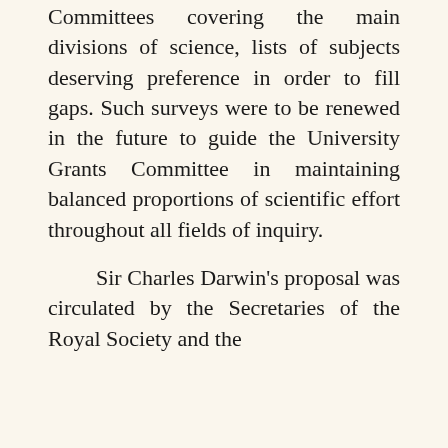Committees covering the main divisions of science, lists of subjects deserving preference in order to fill gaps. Such surveys were to be renewed in the future to guide the University Grants Committee in maintaining balanced proportions of scientific effort throughout all fields of inquiry.
Sir Charles Darwin's proposal was circulated by the Secretaries of the Royal Society and the